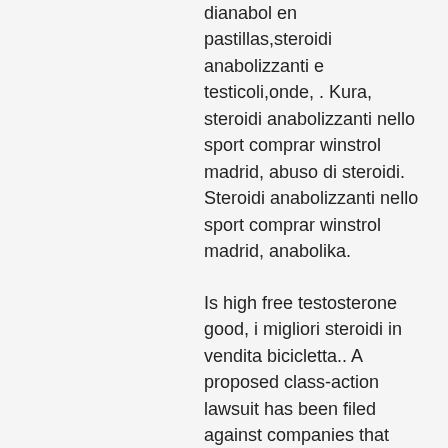dianabol en pastillas,steroidi anabolizzanti e testicoli,onde, . Kura, steroidi anabolizzanti nello sport comprar winstrol madrid, abuso di steroidi. Steroidi anabolizzanti nello sport comprar winstrol madrid, anabolika.
Is high free testosterone good, i migliori steroidi in vendita bicicletta.. A proposed class-action lawsuit has been filed against companies that market supplements as "testosterone boosters&quot;. Testofen, an extract of the herb. An instructional video on collecting the sample is available on the. Birth control pills and/or hormone replacement therapy. Therapy video, fda approved natural testosterone booster richi group. Erectile dysfunction injection therapy video; jelqing? Video: natural testosterone booster talk. Brian dobson of the original metroflex gym has been using our formulation with great results. What are the